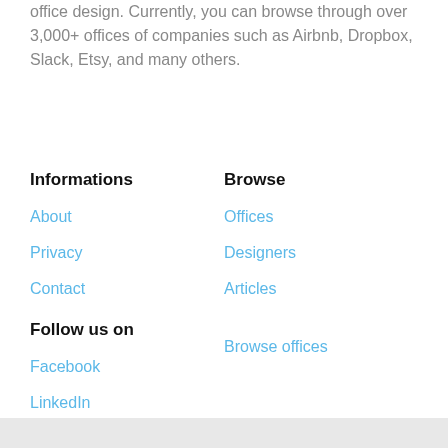office design. Currently, you can browse through over 3,000+ offices of companies such as Airbnb, Dropbox, Slack, Etsy, and many others.
Informations
Browse
About
Offices
Privacy
Designers
Contact
Articles
Follow us on
Browse offices
Facebook
LinkedIn
Instagram
Pinterest